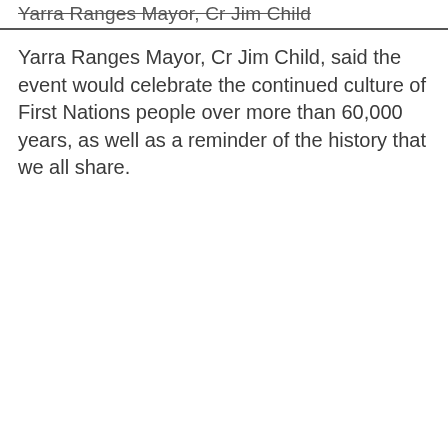Yarra Ranges Mayor, Cr Jim Child
Yarra Ranges Mayor, Cr Jim Child, said the event would celebrate the continued culture of First Nations people over more than 60,000 years, as well as a reminder of the history that we all share.